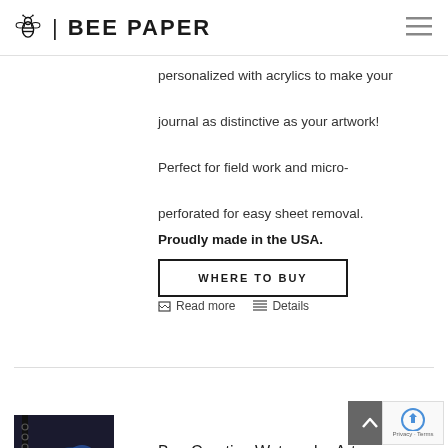| BEE PAPER
personalized with acrylics to make your journal as distinctive as your artwork! Perfect for field work and micro-perforated for easy sheet removal. Proudly made in the USA.
WHERE TO BUY
Read more   Details
Bee Creative Watercolor Art Journal